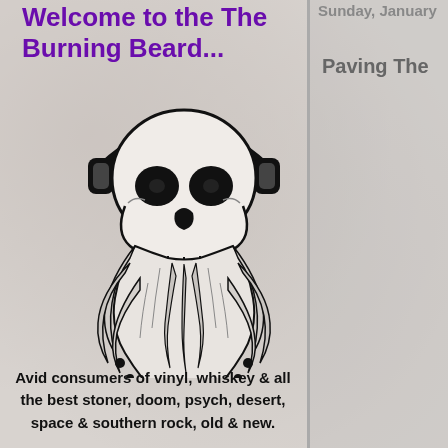Welcome to the The Burning Beard...
Sunday, January
Paving The
[Figure (illustration): A skull wearing headphones with a long flame-styled beard, black and white illustration]
Avid consumers of vinyl, whiskey & all the best stoner, doom, psych, desert, space & southern rock, old & new.